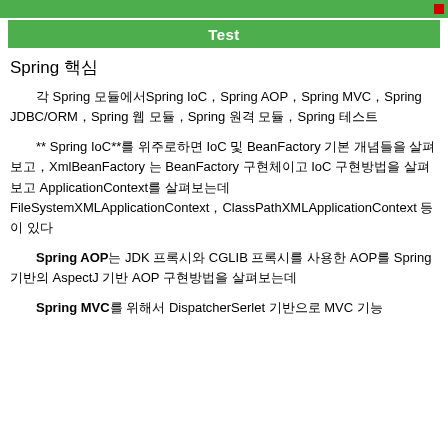[Figure (screenshot): Green toolbar/header bar with a red close button on the right]
[Figure (screenshot): Green Test button bar with URL text on left side]
Spring 핵심
각 Spring 모듈에서Spring IoC，Spring AOP，Spring MVC，Spring JDBC/ORM，Spring 웹 모듈，Spring 원격 모듈，Spring 테스트
** Spring IoC**를 위주로하면 IoC 및 BeanFactory 기본 개념들을 살펴보고，XmlBeanFactory 는 BeanFactory 구현체이고 IoC 구현방법을 살펴보고 ApplicationContext를 살펴보는데 FileSystemXMLApplicationContext，ClassPathXMLApplicationContext 등이 있다
Spring AOP는 JDK 프록시와 CGLIB 프록시를 사용한 AOP를 Spring 기반의 AspectJ 기반 AOP 구현방법을 살펴보는데
Spring MVC를 위해서 DispatcherSerlet 기반으로 MVC 기능